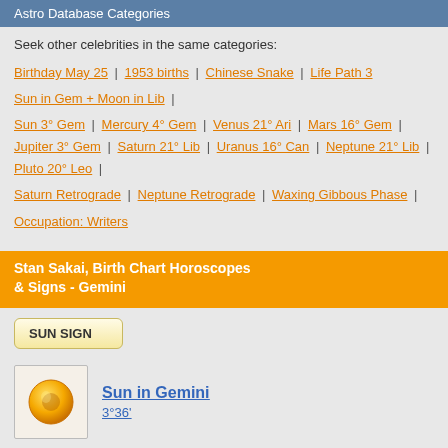Astro Database Categories
Seek other celebrities in the same categories:
Birthday May 25 | 1953 births | Chinese Snake | Life Path 3
Sun in Gem + Moon in Lib |
Sun 3° Gem | Mercury 4° Gem | Venus 21° Ari | Mars 16° Gem | Jupiter 3° Gem | Saturn 21° Lib | Uranus 16° Can | Neptune 21° Lib | Pluto 20° Leo |
Saturn Retrograde | Neptune Retrograde | Waxing Gibbous Phase |
Occupation: Writers
Stan Sakai, Birth Chart Horoscopes & Signs - Gemini
SUN SIGN
Sun in Gemini
3°36'